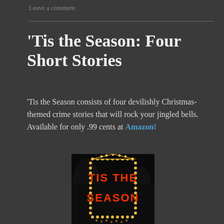Leave a comment
'Tis the Season: Four Short Stories
'Tis the Season consists of four devilishly Christmas-themed crime stories that will rock your jingled bells. Available for only .99 cents at Amazon!
[Figure (photo): A decorative light display spelling 'TIS THE SEASON' in red lights on a dark background, framed with white/yellow lights]